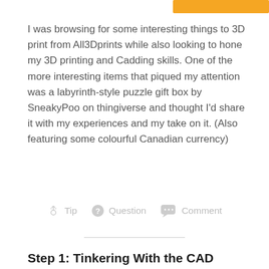[Figure (other): Orange button/bar in top right corner]
I was browsing for some interesting things to 3D print from All3Dprints while also looking to hone my 3D printing and Cadding skills. One of the more interesting items that piqued my attention was a labyrinth-style puzzle gift box by SneakyPoo on thingiverse and thought I'd share it with my experiences and my take on it. (Also featuring some colourful Canadian currency)
Tip   Question   Comment
Step 1: Tinkering With the CAD
I used TinkerCad as the platform for learning basic CAD skills due to its really simple to use UI as opposed